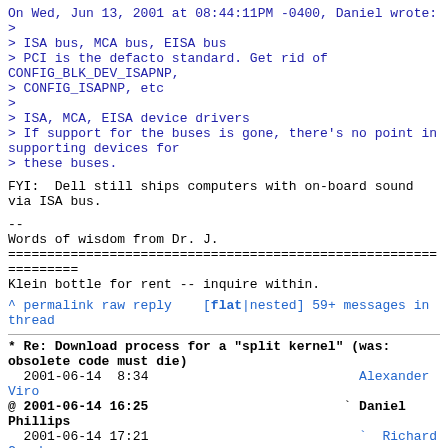On Wed, Jun 13, 2001 at 08:44:11PM -0400, Daniel wrote:
>
> ISA bus, MCA bus, EISA bus
> PCI is the defacto standard. Get rid of CONFIG_BLK_DEV_ISAPNP,
> CONFIG_ISAPNP, etc
>
> ISA, MCA, EISA device drivers
> If support for the buses is gone, there's no point in supporting devices for
> these buses.
FYI:  Dell still ships computers with on-board sound via ISA bus.
--
Words of wisdom from Dr. J.
================================================================
Klein bottle for rent -- inquire within.
^ permalink raw reply    [flat|nested] 59+ messages in thread
* Re: Download process for a "split kernel" (was: obsolete code must die)
  2001-06-14  8:34                             Alexander Viro
@ 2001-06-14 16:25                           ` Daniel Phillips
  2001-06-14 17:21                             Richard Gooch
  1 sibling, 0 replies; 59+ messages in thread